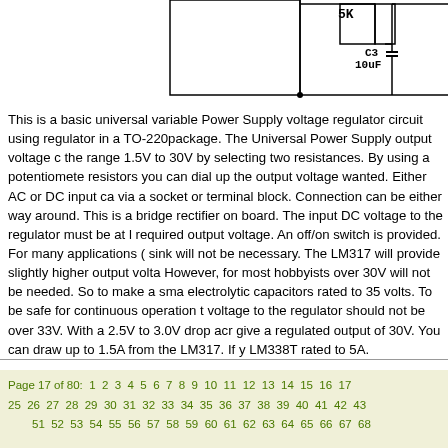[Figure (schematic): Partial circuit schematic showing components including a 5K resistor and C3 10uF capacitor at top of page]
This is a basic universal variable Power Supply voltage regulator circuit using regulator in a TO-220package. The Universal Power Supply output voltage can be set in the range 1.5V to 30V by selecting two resistances. By using a potentiometer for the resistors you can dial up the output voltage wanted. Either AC or DC input can be applied via a socket or terminal block. Connection can be either way around. This is because there is a bridge rectifier on board. The input DC voltage to the regulator must be at least 3V above the required output voltage. An off/on switch is provided. For many applications (up to about 1A) a heat sink will not be necessary. The LM317 will provide slightly higher output voltages (up to 37V). However, for most hobbyists over 30V will not be needed. So to make a smart design, use electrolytic capacitors rated to 35 volts. To be safe for continuous operation the maximum input voltage to the regulator should not be over 33V. With a 2.5V to 3.0V drop across the regulator give a regulated output of 30V. You can draw up to 1.5A from the LM317. If you need more use LM338T rated to 5A.
Page 17 of 80: 1 2 3 4 5 6 7 8 9 10 11 12 13 14 15 16 17 25 26 27 28 29 30 31 32 33 34 35 36 37 38 39 40 41 42 43 51 52 53 54 55 56 57 58 59 60 61 62 63 64 65 66 67 68